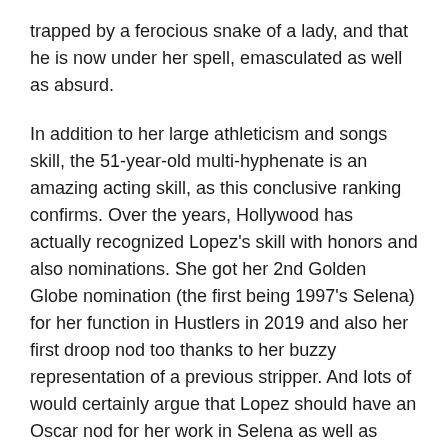trapped by a ferocious snake of a lady, and that he is now under her spell, emasculated as well as absurd.
In addition to her large athleticism and songs skill, the 51-year-old multi-hyphenate is an amazing acting skill, as this conclusive ranking confirms. Over the years, Hollywood has actually recognized Lopez's skill with honors and also nominations. She got her 2nd Golden Globe nomination (the first being 1997's Selena) for her function in Hustlers in 2019 and also her first droop nod too thanks to her buzzy representation of a previous stripper. And lots of would certainly argue that Lopez should have an Oscar nod for her work in Selena as well as Hustlers. So as Bennifer make their victorious return, they're no more confronted with a story in which chilly, man-eating Lopez is emasculating as well as embarrassing significant, respectable Affleck.
As Lopez was still quite busy with her movie as well as music